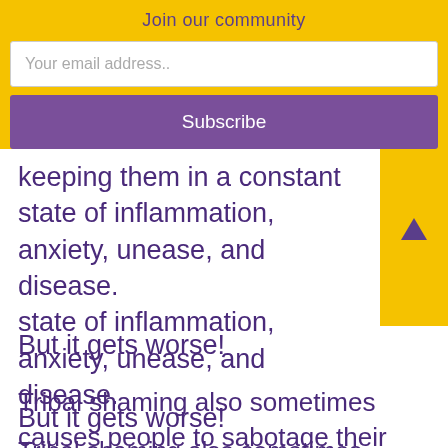Join our community
Your email address..
Subscribe
keeping them in a constant state of inflammation, anxiety, unease, and disease.
But it gets worse!
Tribal shaming also sometimes causes people to sabotage their own lives – to abandon their own callings, and to jettison their own true paths, and to forbid